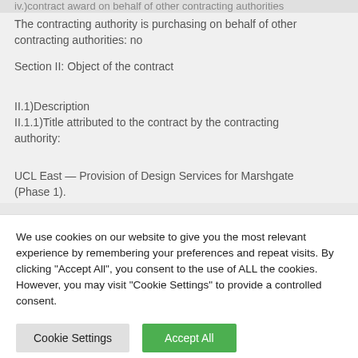iv.) contract award on behalf of other contracting authorities
The contracting authority is purchasing on behalf of other contracting authorities: no
Section II: Object of the contract
II.1)Description
II.1.1)Title attributed to the contract by the contracting authority:
UCL East — Provision of Design Services for Marshgate (Phase 1).
We use cookies on our website to give you the most relevant experience by remembering your preferences and repeat visits. By clicking "Accept All", you consent to the use of ALL the cookies. However, you may visit "Cookie Settings" to provide a controlled consent.